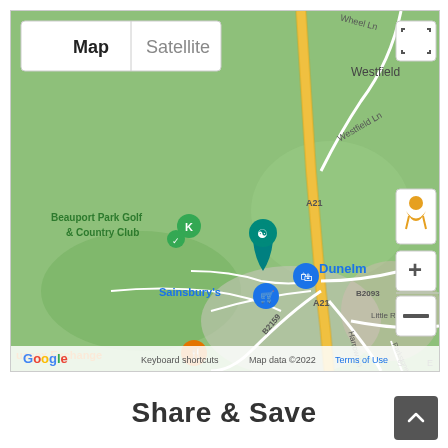[Figure (screenshot): Google Maps screenshot showing area around Hastings/Westfield, UK. Shows Beauport Park Golf & Country Club, Sainsbury's, Dunelm, Tesco Extra, Sussex Exchange markers. Roads A21, B2093, B2159 visible. Map/Satellite toggle at top left. Zoom +/- and Street View controls on right. Google logo and attribution bar at bottom.]
Share & Save